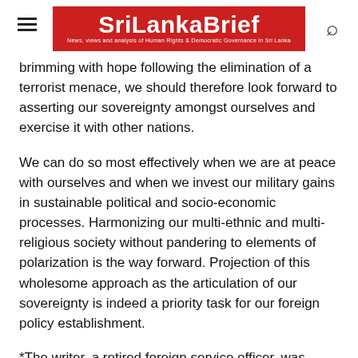SriLankaBrief — News, views and analysis of Human Rights & Democratic Governance in Sri Lanka
brimming with hope following the elimination of a terrorist menace, we should therefore look forward to asserting our sovereignty amongst ourselves and exercise it with other nations.
We can do so most effectively when we are at peace with ourselves and when we invest our military gains in sustainable political and socio-economic processes. Harmonizing our multi-ethnic and multi-religious society without pandering to elements of polarization is the way forward. Projection of this wholesome approach as the articulation of our sovereignty is indeed a priority task for our foreign policy establishment.
*The writer, a retired foreign service officer, was formerly Sri Lanka's Foreign Secretary, and has held several posts of ambassador. He is a member of the Sri Lanka's Lessons Learned and Reconciliation Commission.